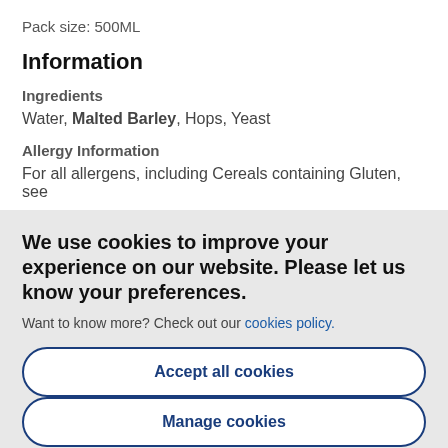Pack size: 500ML
Information
Ingredients
Water, Malted Barley, Hops, Yeast
Allergy Information
For all allergens, including Cereals containing Gluten, see
We use cookies to improve your experience on our website. Please let us know your preferences.
Want to know more? Check out our cookies policy.
Accept all cookies
Manage cookies